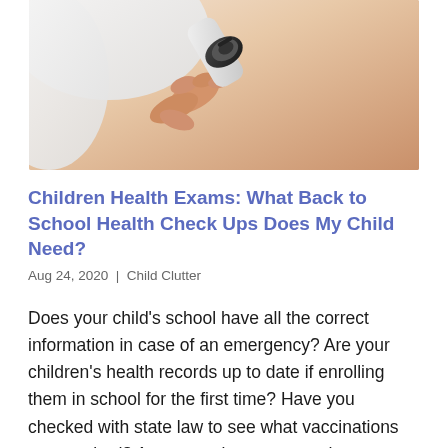[Figure (photo): Close-up photo of a medical professional using a handheld device on a patient's skin, examining or treating the back area.]
Children Health Exams: What Back to School Health Check Ups Does My Child Need?
Aug 24, 2020 | Child Clutter
Does your child’s school have all the correct information in case of an emergency? Are your children’s health records up to date if enrolling them in school for the first time? Have you checked with state law to see what vaccinations are required? As we continue our month